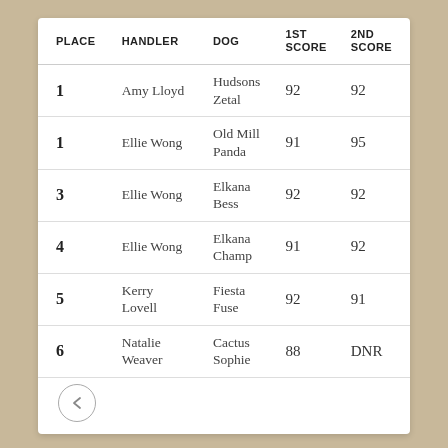| PLACE | HANDLER | DOG | 1ST
SCORE | 2ND
SCORE |
| --- | --- | --- | --- | --- |
| 1 | Amy Lloyd | Hudsons Zetal | 92 | 92 |
| 1 | Ellie Wong | Old Mill Panda | 91 | 95 |
| 3 | Ellie Wong | Elkana Bess | 92 | 92 |
| 4 | Ellie Wong | Elkana Champ | 91 | 92 |
| 5 | Kerry Lovell | Fiesta Fuse | 92 | 91 |
| 6 | Natalie Weaver | Cactus Sophie | 88 | DNR |